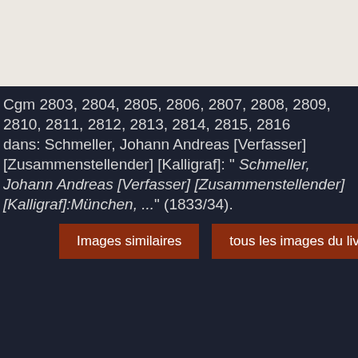Cgm 2803, 2804, 2805, 2806, 2807, 2808, 2809, 2810, 2811, 2812, 2813, 2814, 2815, 2816 dans: Schmeller, Johann Andreas [Verfasser] [Zusammenstellender] [Kalligraf]: " Schmeller, Johann Andreas [Verfasser] [Zusammenstellender] [Kalligraf]:München, ..." (1833/34).
Images similaires
tous les images du livre